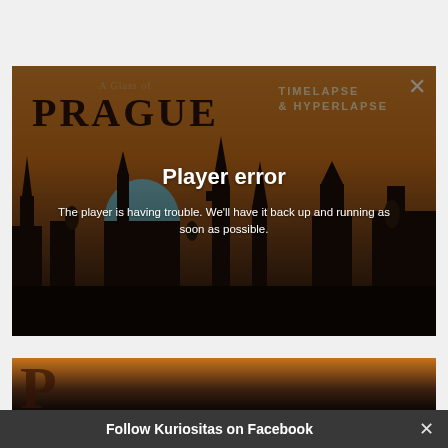[Figure (screenshot): Video player showing 'A Glass of Prague – Timelapse & Hyperlapse' with a Player error message overlay. The background shows a sunset skyline of Prague city with domes and spires. The error overlay reads 'Player error' and 'The player is having trouble. We'll have it back up and running as soon as possible.' A close (×) button is in the top right.]
Player error
The player is having trouble. We'll have it back up and running as soon as possible.
Follow Kuriositas on Facebook